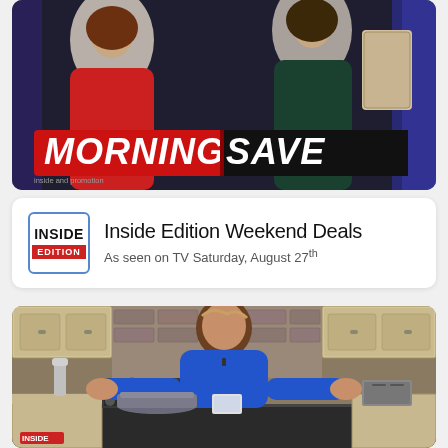[Figure (photo): TV screenshot showing two women hosts in front of a MorningSave banner/logo. One woman wears red, another wears dark green. Large red and black banner reads MORNING SAVE. Small text says 'inside and promotion'.]
[Figure (logo): Inside Edition logo - square blue-bordered box with INSIDE in black bold text and EDITION in white text on red background strip]
Inside Edition Weekend Deals
As seen on TV Saturday, August 27th
[Figure (photo): Woman with long brown highlighted hair wearing a bright blue long-sleeve top, sitting in a kitchen setting with cream cabinets, brick backsplash, and dark countertops. Pots and products visible on counter. Inside Edition watermark in lower left corner.]